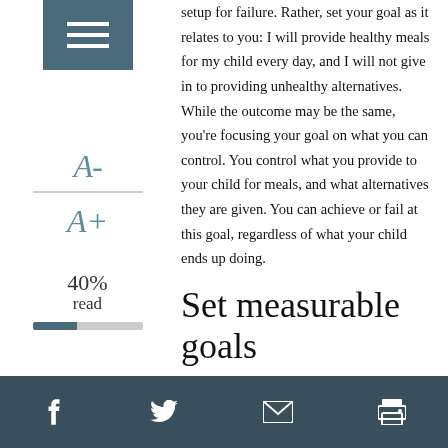setup for failure. Rather, set your goal as it relates to you: I will provide healthy meals for my child every day, and I will not give in to providing unhealthy alternatives. While the outcome may be the same, you're focusing your goal on what you can control. You control what you provide to your child for meals, and what alternatives they are given. You can achieve or fail at this goal, regardless of what your child ends up doing.
Set measurable goals
One of the biggest problems when setting goals is making them too generic. A generic goal is one that is too hard to determine if it was achieved or not. By not being specific in your goals you're more likely to not complete
f  twitter  mail  print